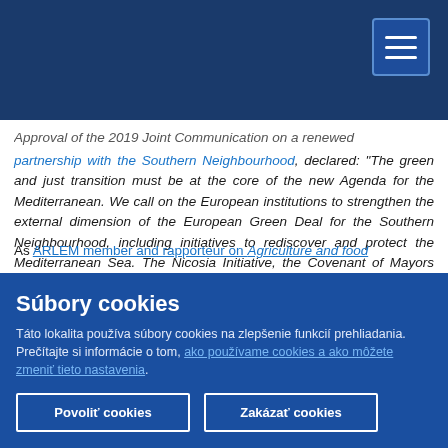Approval of the 2019 Joint Communication on a renewed partnership with the Southern Neighbourhood, declared: "The green and just transition must be at the core of the new Agenda for the Mediterranean. We call on the European institutions to strengthen the external dimension of the European Green Deal for the Southern Neighbourhood, including initiatives to rediscover and protect the Mediterranean Sea. The Nicosia Initiative, the Covenant of Mayors and Clima-Med, just to name a few initiatives, tell us that cooperation at local and regional is crucial for a more prosperous, fair and sustainable future for the Mediterranean."
As ARLEM member and rapporteur on Agriculture and food...
Súbory cookies
Táto lokalita používa súbory cookies na zlepšenie funkcií prehliadania. Prečítajte si informácie o tom, ako používame cookies a ako môžete zmeniť tieto nastavenia.
Povoliť cookies
Zakázať cookies